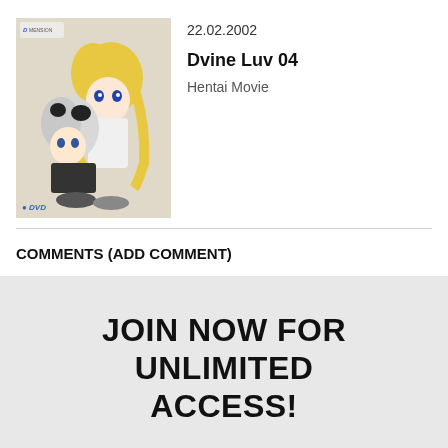[Figure (illustration): Anime DVD cover thumbnail showing two anime girls, one with blonde hair and one with white/silver hair, crouching. Has a small logo in top-left and a DVD icon in bottom-left.]
22.02.2002
Dvine Luv 04
Hentai Movie
COMMENTS (ADD COMMENT)
JOIN NOW FOR UNLIMITED ACCESS!
DON'T WAIT SIGNUP AND GET FULL ACCESS TO MOELOAD
[Figure (illustration): Bottom portion of anime illustration showing multiple anime characters' faces and upper bodies in colorful art style.]